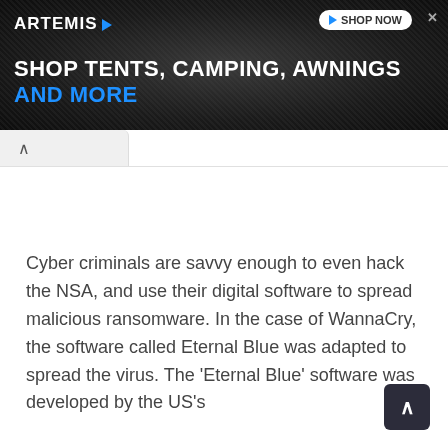[Figure (screenshot): Advertisement banner for ARTEMIS outdoor products. Dark background with texture. Shows 'ARTEMIS' logo with blue arrow on left, 'SHOP NOW' button with play icon on right, and tagline 'SHOP TENTS, CAMPING, AWNINGS AND MORE' in white and blue text.]
Cyber criminals are savvy enough to even hack the NSA, and use their digital software to spread malicious ransomware. In the case of WannaCry, the software called Eternal Blue was adapted to spread the virus. The 'Eternal Blue' software was developed by the US's